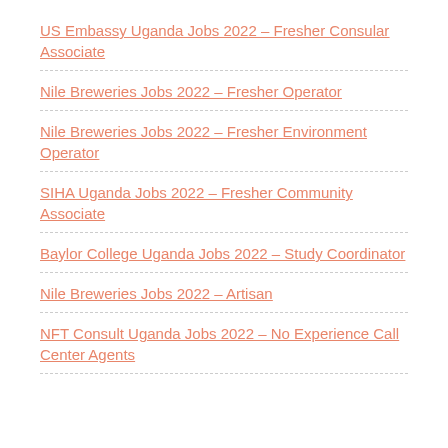US Embassy Uganda Jobs 2022 – Fresher Consular Associate
Nile Breweries Jobs 2022 – Fresher Operator
Nile Breweries Jobs 2022 – Fresher Environment Operator
SIHA Uganda Jobs 2022 – Fresher Community Associate
Baylor College Uganda Jobs 2022 – Study Coordinator
Nile Breweries Jobs 2022 – Artisan
NFT Consult Uganda Jobs 2022 – No Experience Call Center Agents